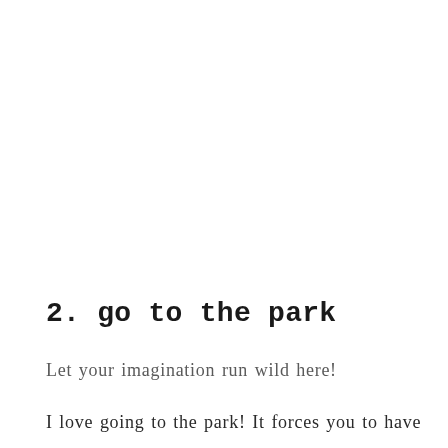2. go to the park
Let your imagination run wild here!
I love going to the park! It forces you to have